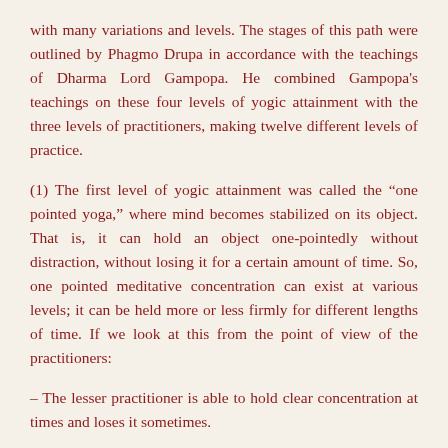with many variations and levels. The stages of this path were outlined by Phagmo Drupa in accordance with the teachings of Dharma Lord Gampopa. He combined Gampopa's teachings on these four levels of yogic attainment with the three levels of practitioners, making twelve different levels of practice.
(1) The first level of yogic attainment was called the “one pointed yoga,” where mind becomes stabilized on its object. That is, it can hold an object one-pointedly without distraction, without losing it for a certain amount of time. So, one pointed meditative concentration can exist at various levels; it can be held more or less firmly for different lengths of time. If we look at this from the point of view of the practitioners:
– The lesser practitioner is able to hold clear concentration at times and loses it sometimes.
– The middle-level practitioner is able to maintain stable